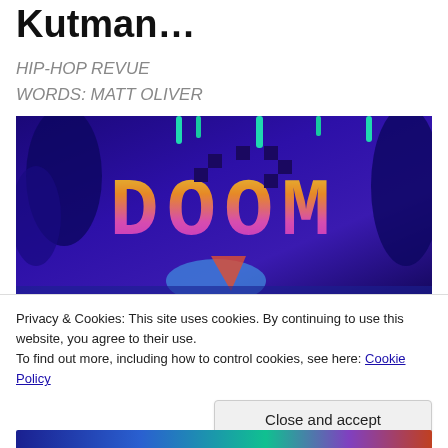Kutman...
HIP-HOP REVUE
WORDS: MATT OLIVER
[Figure (illustration): Colorful psychedelic illustration featuring the word DOOM in large pixel-art style letters with gradient colors (yellow, orange, pink, purple), set against a deep purple/blue background with abstract jungle-like shapes, dripping effects, and decorative foliage elements.]
Privacy & Cookies: This site uses cookies. By continuing to use this website, you agree to their use.
To find out more, including how to control cookies, see here: Cookie Policy
Close and accept